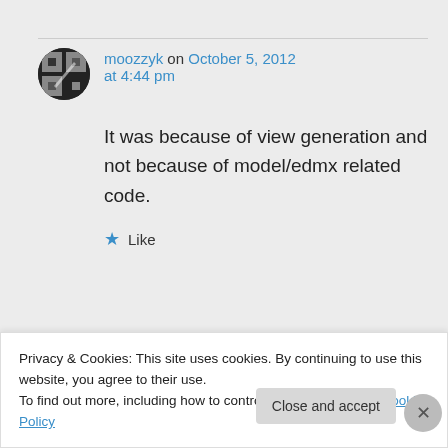moozzyk on October 5, 2012 at 4:44 pm
It was because of view generation and not because of model/edmx related code.
★ Like
↳ Reply
Privacy & Cookies: This site uses cookies. By continuing to use this website, you agree to their use.
To find out more, including how to control cookies, see here: Cookie Policy
Close and accept